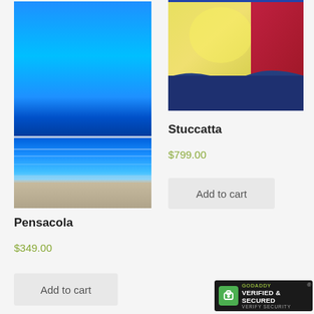[Figure (photo): Abstract blue ocean/beach painting with layered horizontal bands of blue sky, turquoise water, and sandy beach]
Pensacola
$349.00
Add to cart
[Figure (photo): Abstract painting with yellow, red/crimson upper sections and dark blue lower section suggesting landscape or seascape]
Stuccatta
$799.00
Add to cart
[Figure (logo): GoDaddy Verified & Secured security badge]